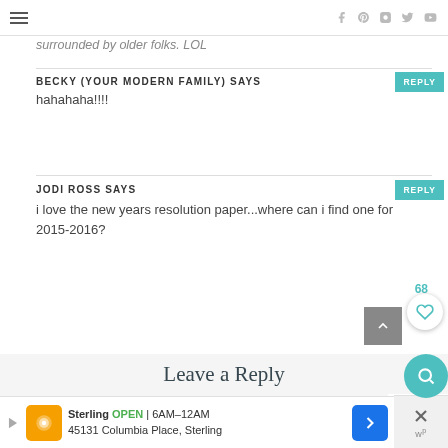Menu | Social icons: facebook, pinterest, instagram, twitter, youtube
surrounded by older folks. LOL
BECKY (YOUR MODERN FAMILY) SAYS
hahahaha!!!!
JODI ROSS SAYS
i love the new years resolution paper...where can i find one for 2015-2016?
Leave a Reply
Your email address will not be published.
[Figure (other): Advertisement banner for Sterling, OPEN 6AM-12AM, 45131 Columbia Place, Sterling]